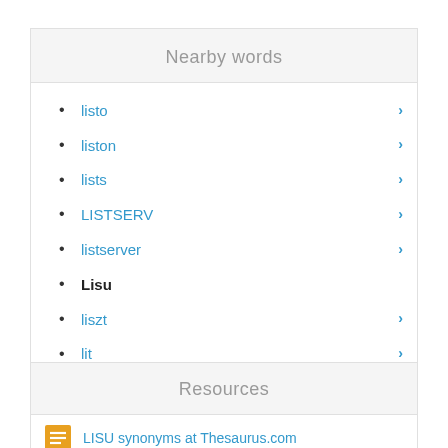Nearby words
listo
liston
lists
LISTSERV
listserver
Lisu
liszt
lit
lit candle
lit crit
lit firecracker
Resources
LISU synonyms at Thesaurus.com